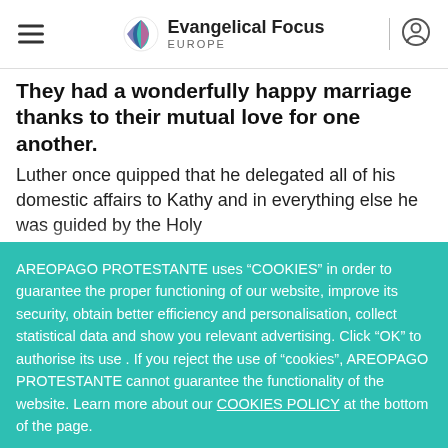Evangelical Focus Europe
They had a wonderfully happy marriage thanks to their mutual love for one another.
Luther once quipped that he delegated all of his domestic affairs to Kathy and in everything else he was guided by the Holy
AREOPAGO PROTESTANTE uses “COOKIES” in order to guarantee the proper functioning of our website, improve its security, obtain better efficiency and personalisation, collect statistical data and show you relevant advertising. Click “OK” to authorise its use . If you reject the use of “cookies”, AREOPAGO PROTESTANTE cannot guarantee the functionality of the website. Learn more about our COOKIES POLICY at the bottom of the page.
Ok